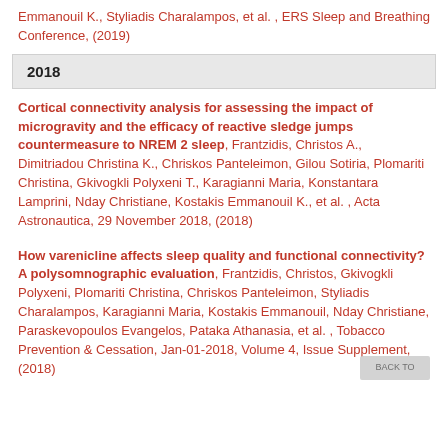Emmanouil K., Styliadis Charalampos, et al. , ERS Sleep and Breathing Conference, (2019)
2018
Cortical connectivity analysis for assessing the impact of microgravity and the efficacy of reactive sledge jumps countermeasure to NREM 2 sleep, Frantzidis, Christos A., Dimitriadou Christina K., Chriskos Panteleimon, Gilou Sotiria, Plomariti Christina, Gkivogkli Polyxeni T., Karagianni Maria, Konstantara Lamprini, Nday Christiane, Kostakis Emmanouil K., et al. , Acta Astronautica, 29 November 2018, (2018)
How varenicline affects sleep quality and functional connectivity? A polysomnographic evaluation, Frantzidis, Christos, Gkivogkli Polyxeni, Plomariti Christina, Chriskos Panteleimon, Styliadis Charalampos, Karagianni Maria, Kostakis Emmanouil, Nday Christiane, Paraskevopoulos Evangelos, Pataka Athanasia, et al. , Tobacco Prevention & Cessation, Jan-01-2018, Volume 4, Issue Supplement, (2018)